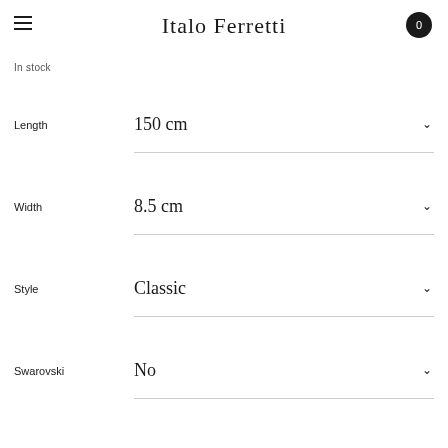Italo Ferretti
In stock
| Label | Value |
| --- | --- |
| Length | 150 cm |
| Width | 8.5 cm |
| Style | Classic |
| Swarovski | No |